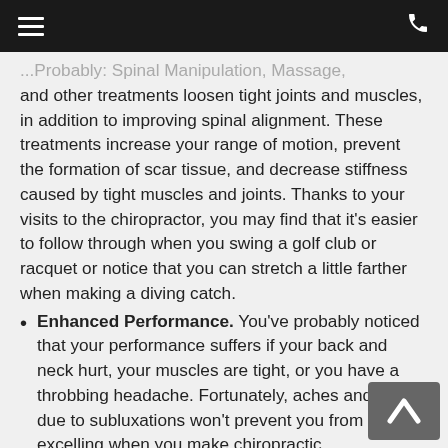≡  [phone icon]
…Probably: Spinal Manipulation, Massage, and other treatments loosen tight joints and muscles, in addition to improving spinal alignment. These treatments increase your range of motion, prevent the formation of scar tissue, and decrease stiffness caused by tight muscles and joints. Thanks to your visits to the chiropractor, you may find that it's easier to follow through when you swing a golf club or racquet or notice that you can stretch a little farther when making a diving catch.
Enhanced Performance. You've probably noticed that your performance suffers if your back and neck hurt, your muscles are tight, or you have a throbbing headache. Fortunately, aches and pains due to subluxations won't prevent you from excelling when you make chiropractic